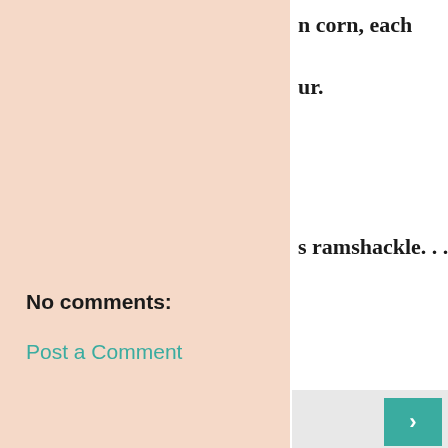n corn, each
ur.
s ramshackle. . .
Share
No comments:
Post a Comment